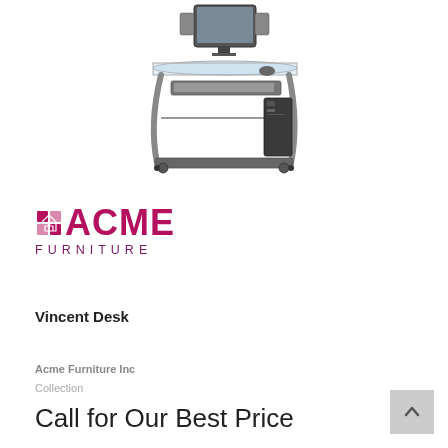[Figure (photo): A computer desk with glass top surface, metal frame in silver/grey color, keyboard tray, lower shelf, and casters. A monitor, speakers, keyboard, and computer tower are shown on the desk.]
[Figure (logo): ACME FURNITURE logo in magenta/dark pink color with a house icon incorporated into the letter A, and 'FURNITURE' in spaced purple lettering below.]
Vincent Desk
Acme Furniture Inc
Collection
Call for Our Best Price